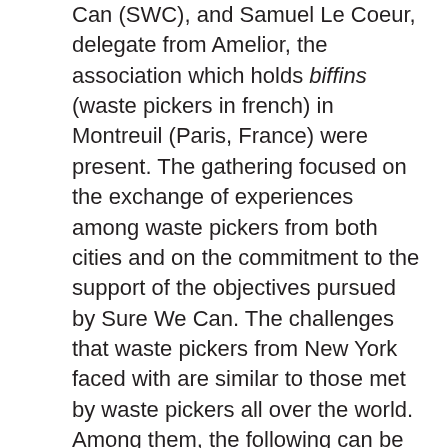Can (SWC), and Samuel Le Coeur, delegate from Amelior, the association which holds biffins (waste pickers in french) in Montreuil (Paris, France) were present. The gathering focused on the exchange of experiences among waste pickers from both cities and on the commitment to the support of the objectives pursued by Sure We Can. The challenges that waste pickers from New York faced with are similar to those met by waste pickers all over the world. Among them, the following can be listed: SWC receives threats of eviction from its historical property, where canners work daily; they struggle against a bill on packaging and against the continuous stigmatization and harassment that the New York Sanitation Department exerts on poor workers and immigrants of the city. Moreover, Taylor Cass Talbott, who coordinates WIEGO's program Reducing Waste in Coastal Cities participated in the workshop and is also a militant for the new